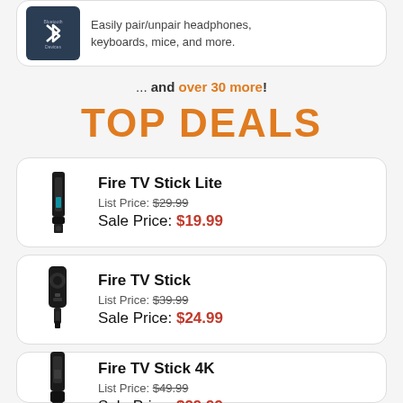[Figure (illustration): Bluetooth Devices icon: dark teal square with Bluetooth symbol and text 'Bluetooth Devices']
Easily pair/unpair headphones, keyboards, mice, and more.
... and over 30 more!
TOP DEALS
Fire TV Stick Lite — List Price: $29.99 — Sale Price: $19.99
Fire TV Stick — List Price: $39.99 — Sale Price: $24.99
Fire TV Stick 4K — List Price: $49.99 — Sale Price: $29.99